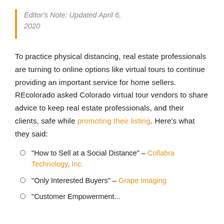Editor's Note: Updated April 6, 2020
To practice physical distancing, real estate professionals are turning to online options like virtual tours to continue providing an important service for home sellers. REcolorado asked Colorado virtual tour vendors to share advice to keep real estate professionals, and their clients, safe while promoting their listing. Here's what they said:
"How to Sell at a Social Distance" – Collabra Technology, Inc.
"Only Interested Buyers" – Grape Imaging
"Customer Empowerment...